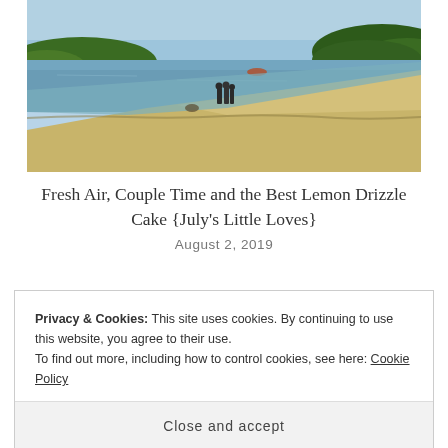[Figure (photo): A coastal beach scene showing a sandy spit or estuary bank with calm water, a few people standing on the sand, and green hills in the background under a blue sky.]
Fresh Air, Couple Time and the Best Lemon Drizzle Cake {July's Little Loves}
August 2, 2019
Privacy & Cookies: This site uses cookies. By continuing to use this website, you agree to their use.
To find out more, including how to control cookies, see here: Cookie Policy
Close and accept